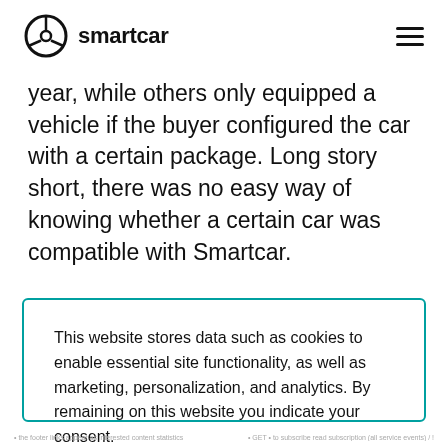smartcar
year, while others only equipped a vehicle if the buyer configured the car with a certain package. Long story short, there was no easy way of knowing whether a certain car was compatible with Smartcar.
This website stores data such as cookies to enable essential site functionality, as well as marketing, personalization, and analytics. By remaining on this website you indicate your consent.

To learn more, visit our cookie policy.